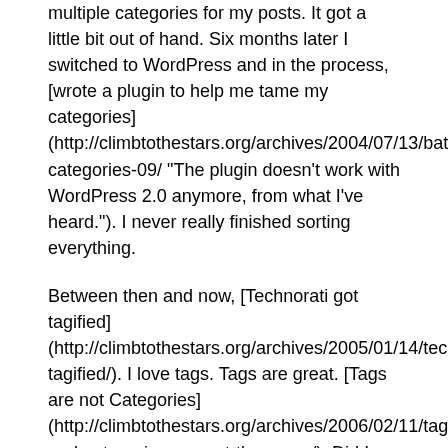multiple categories for my posts. It got a little bit out of hand. Six months later I switched to WordPress and in the process, [wrote a plugin to help me tame my categories](http://climbtothestars.org/archives/2004/07/13/batch-categories-09/ "The plugin doesn't work with WordPress 2.0 anymore, from what I've heard."). I never really finished sorting everything.
Between then and now, [Technorati got tagified](http://climbtothestars.org/archives/2005/01/14/technorati-tagified/). I love tags. Tags are great. [Tags are not Categories](http://climbtothestars.org/archives/2006/02/11/tags-and-categories-are-not-the-same/). Did I mention I love tags? Anyway, at some point, before Technorati tagging, I think I tried to use some of my categories as tags. So, my categories are a mess. Plus, the category hierarchy is mid-way between old categories I was trying to clean up and a new structure which is maybe not that well adapted to the current state of my blog (I think I use the same 5-10 categories all the time). So, I need less categories. But I also need to convert some of my categories into tags. See me coming?
Yep, one of the summer projects will be writing a plugin to convert my categories to tags, and (who knows?) maybe re-writing [Batch Categories](http://climbtothestars.org/archives/2004/07/13/batch-categories-09/) for WordPress 2.0. But not now. No.